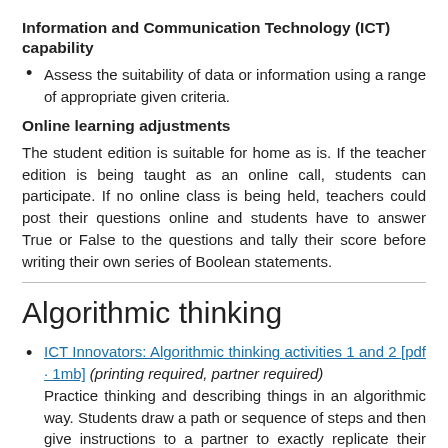Information and Communication Technology (ICT) capability
Assess the suitability of data or information using a range of appropriate given criteria.
Online learning adjustments
The student edition is suitable for home as is. If the teacher edition is being taught as an online call, students can participate. If no online class is being held, teachers could post their questions online and students have to answer True or False to the questions and tally their score before writing their own series of Boolean statements.
Algorithmic thinking
ICT Innovators: Algorithmic thinking activities 1 and 2 [pdf · 1mb] (printing required, partner required) Practice thinking and describing things in an algorithmic way. Students draw a path or sequence of steps and then give instructions to a partner to exactly replicate their steps. Path